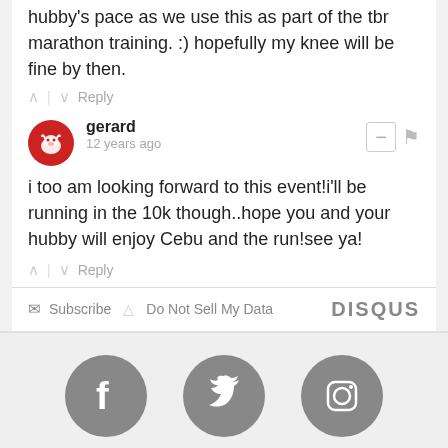hubby's pace as we use this as part of the tbr marathon training. :) hopefully my knee will be fine by then.
^ | v Reply
gerard
12 years ago
i too am looking forward to this event!i'll be running in the 10k though..hope you and your hubby will enjoy Cebu and the run!see ya!
^ | v Reply
Subscribe   Do Not Sell My Data   DISQUS
[Figure (logo): Facebook, Twitter, Instagram social media icons with labels FACEBOOK, TWITTER, INSTAGRAM]